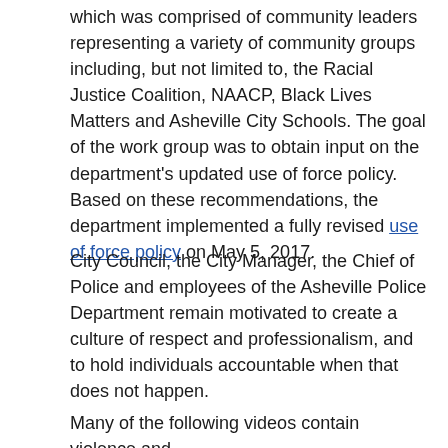which was comprised of community leaders representing a variety of community groups including, but not limited to, the Racial Justice Coalition, NAACP, Black Lives Matters and Asheville City Schools. The goal of the work group was to obtain input on the department's updated use of force policy. Based on these recommendations, the department implemented a fully revised use of force policy on May 5, 2017.
City Council, the City Manager, the Chief of Police and employees of the Asheville Police Department remain motivated to create a culture of respect and professionalism, and to hold individuals accountable when that does not happen.
Many of the following videos contain violence and